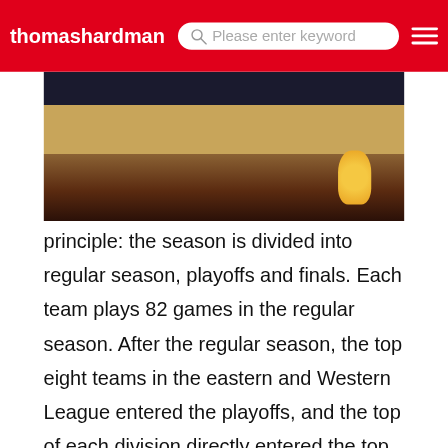thomashardman... Please enter keyword
[Figure (photo): Basketball court photo with crowd in background and mascot visible on right side]
principle: the season is divided into regular season, playoffs and finals. Each team plays 82 games in the regular season. After the regular season, the top eight teams in the eastern and Western League entered the playoffs, and the top of each division directly entered the top three in the playoffs. The playoffs are elimination gamesNBA legal nature NBA is the abbreviation of National Basketball As
[Figure (photo): Blue promotional image with Chinese text reading 法外狂徒张三 in yellow banner and red Chinese subtitle text below]